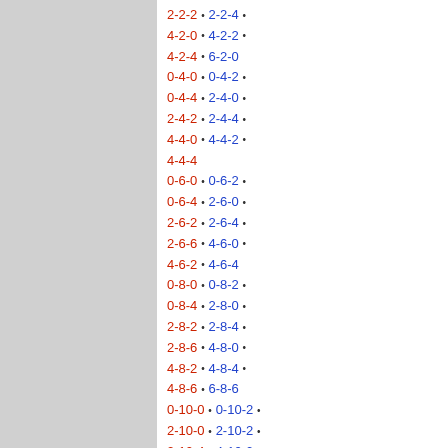2-2-2 • 2-2-4 • 4-2-0 • 4-2-2 • 4-2-4 • 6-2-0 0-4-0 • 0-4-2 • 0-4-4 • 2-4-0 • 2-4-2 • 2-4-4 • 4-4-0 • 4-4-2 • 4-4-4 0-6-0 • 0-6-2 • 0-6-4 • 2-6-0 • 2-6-2 • 2-6-4 • 2-6-6 • 4-6-0 • 4-6-2 • 4-6-4 0-8-0 • 0-8-2 • 0-8-4 • 2-8-0 • 2-8-2 • 2-8-4 • 2-8-6 • 4-8-0 • 4-8-2 • 4-8-4 • 4-8-6 • 6-8-6 0-10-0 • 0-10-2 • 2-10-0 • 2-10-2 • 2-10-4 • 4-10-0 • 4-10-2
Single engine types
This website uses cookies to ensure you get the best experience on our website.
Learn more
Got it!